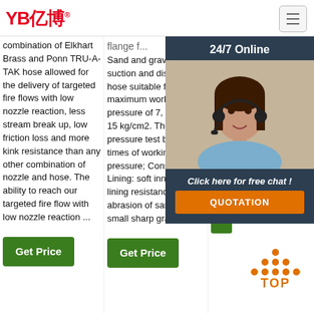[Figure (logo): YB亿博 logo in red with registered trademark symbol]
combination of Elkhart Brass and Ponn TRU-A-TAK hose allowed for the delivery of targeted fire flows with low nozzle reaction, less stream break up, low friction loss and more kink resistance than any other combination of nozzle and hose. The ability to reach our targeted fire flow with low nozzle reaction ...
Sand and gravel suction and discharge hose suitable for maximum working pressure of 7, 10 and 15 kg/cm2. The proof pressure test being 1. 5 times of working pressure; Construction. Lining: soft inner rubber lining resistance to abrasion of sand and small sharp gravels
diesel and petrol Man acc Fire leas Ma bar.
[Figure (photo): Woman with headset, customer service representative, 24/7 Online chat panel overlay with QUOTATION button]
[Figure (other): TOP button with orange dot pattern triangle above text TOP in orange]
Get Price
Get Price